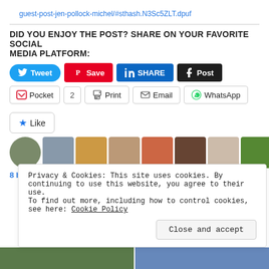guest-post-jen-pollock-michel/#sthash.N3Sc5ZLT.dpuf
Did you enjoy the post? Share on your favorite social media platform:
[Figure (screenshot): Social sharing buttons: Tweet (Twitter/blue), Save (Pinterest/red), SHARE (LinkedIn/blue), Post (Tumblr/black)]
[Figure (screenshot): Social sharing buttons row 2: Pocket with count 2, Print, Email, WhatsApp]
[Figure (screenshot): Like button with star icon and 8 blogger avatars]
8 bloggers like this.
Privacy & Cookies: This site uses cookies. By continuing to use this website, you agree to their use.
To find out more, including how to control cookies, see here: Cookie Policy
Close and accept